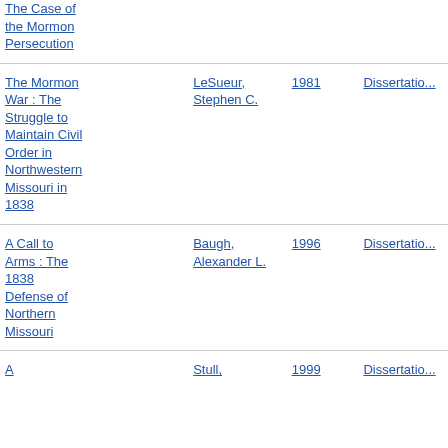| Title | Author | Year | Type |
| --- | --- | --- | --- |
| The Case of the Mormon Persecution |  |  |  |
| The Mormon War : The Struggle to Maintain Civil Order in Northwestern Missouri in 1838 | LeSueur, Stephen C. | 1981 | Dissertation |
| A Call to Arms : The 1838 Defense of Northern Missouri | Baugh, Alexander L. | 1996 | Dissertation |
| A | Stull, | 1999 | Dissertation |